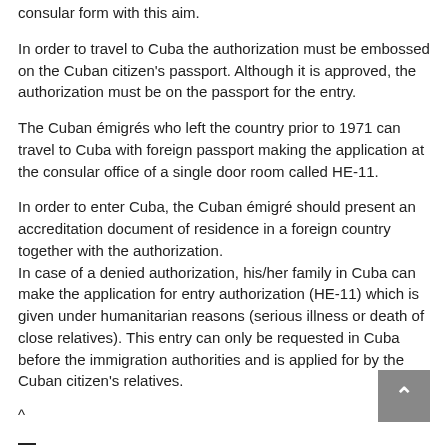consular form with this aim.
In order to travel to Cuba the authorization must be embossed on the Cuban citizen's passport. Although it is approved, the authorization must be on the passport for the entry.
The Cuban émigrés who left the country prior to 1971 can travel to Cuba with foreign passport making the application at the consular office of a single door room called HE-11.
In order to enter Cuba, the Cuban émigré should present an accreditation document of residence in a foreign country together with the authorization.
In case of a denied authorization, his/her family in Cuba can make the application for entry authorization (HE-11) which is given under humanitarian reasons (serious illness or death of close relatives). This entry can only be requested in Cuba before the immigration authorities and is applied for by the Cuban citizen's relatives.
^